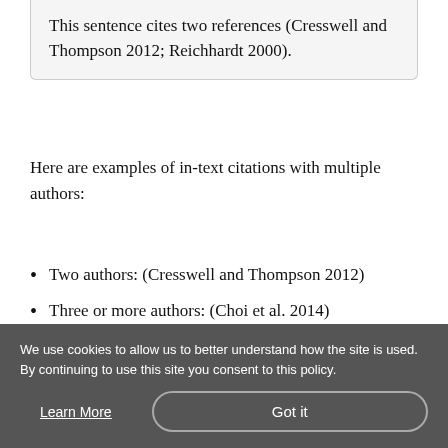This sentence cites two references (Cresswell and Thompson 2012; Reichhardt 2000).
Here are examples of in-text citations with multiple authors:
Two authors: (Cresswell and Thompson 2012)
Three or more authors: (Choi et al. 2014)
About the journal
We use cookies to allow us to better understand how the site is used. By continuing to use this site you consent to this policy.